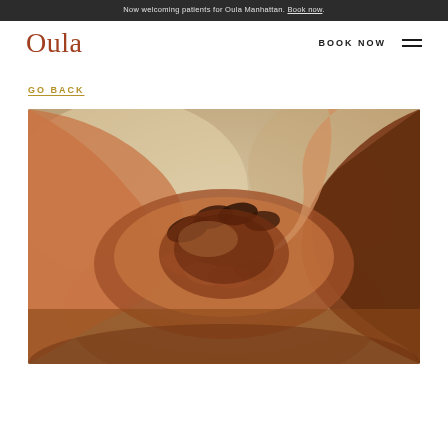Now welcoming patients for Oula Manhattan. Book now.
Oula
BOOK NOW
GO BACK
[Figure (photo): Close-up photo of multiple hands clasped together in support — diverse skin tones, warm-toned background suggesting connection and care.]